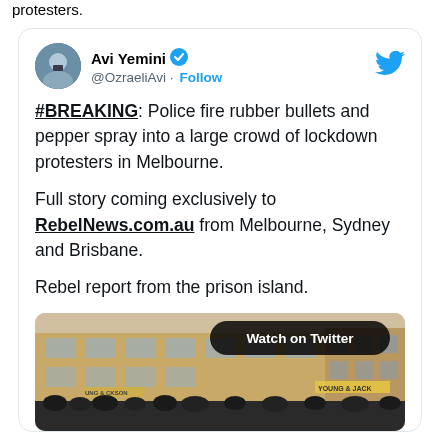protesters.
[Figure (screenshot): Tweet by Avi Yemini (@OzraeliAvi) with verified badge and Follow button. Tweet text: '#BREAKING: Police fire rubber bullets and pepper spray into a large crowd of lockdown protesters in Melbourne. Full story coming exclusively to RebelNews.com.au from Melbourne, Sydney and Brisbane. Rebel report from the prison island.' Below the text is a video thumbnail showing a street scene in Melbourne with a crowd of protesters and a building. A 'Watch on Twitter' button overlays the video thumbnail.]